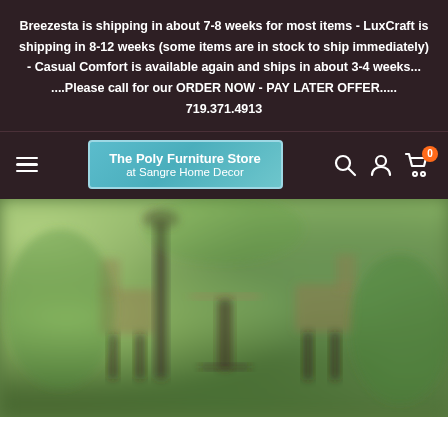Breezesta is shipping in about 7-8 weeks for most items - LuxCraft is shipping in 8-12 weeks (some items are in stock to ship immediately) - Casual Comfort is available again and ships in about 3-4 weeks... ....Please call for our ORDER NOW - PAY LATER OFFER..... 719.371.4913
[Figure (screenshot): Website navigation bar with hamburger menu, The Poly Furniture Store at Sangre Home Decor logo in teal box, search icon, account icon, and cart icon with orange badge showing 0]
[Figure (photo): Blurry outdoor garden scene showing poly furniture — chairs and a bistro table — surrounded by lush green plants and foliage]